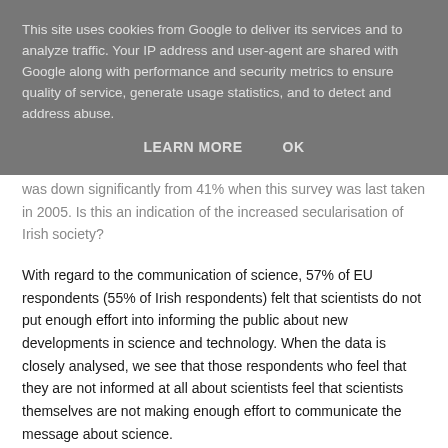This site uses cookies from Google to deliver its services and to analyze traffic. Your IP address and user-agent are shared with Google along with performance and security metrics to ensure quality of service, generate usage statistics, and to detect and address abuse.
LEARN MORE   OK
was down significantly from 41% when this survey was last taken in 2005. Is this an indication of the increased secularisation of Irish society?
With regard to the communication of science, 57% of EU respondents (55% of Irish respondents) felt that scientists do not put enough effort into informing the public about new developments in science and technology. When the data is closely analysed, we see that those respondents who feel that they are not informed at all about scientists feel that scientists themselves are not making enough effort to communicate the message about science.
The majority of EU citizens